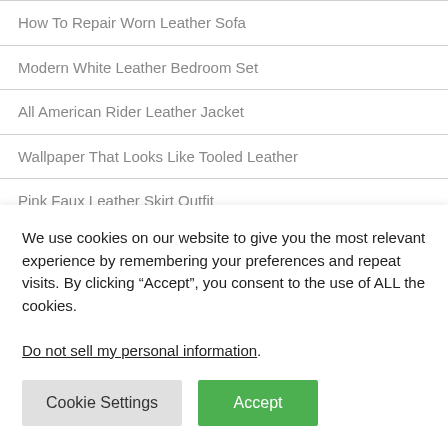How To Repair Worn Leather Sofa
Modern White Leather Bedroom Set
All American Rider Leather Jacket
Wallpaper That Looks Like Tooled Leather
Pink Faux Leather Skirt Outfit
Stressless Leather Chair Cleaner
Brown Leather Sofa Nailhead Trim
Leather Furniture With Nailhead Trim
We use cookies on our website to give you the most relevant experience by remembering your preferences and repeat visits. By clicking “Accept”, you consent to the use of ALL the cookies.
Do not sell my personal information.